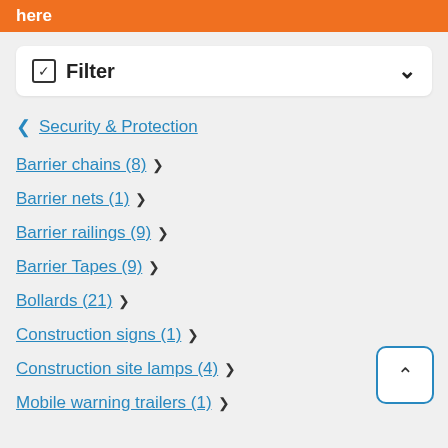here
Filter
< Security & Protection
Barrier chains (8) >
Barrier nets (1) >
Barrier railings (9) >
Barrier Tapes (9) >
Bollards (21) >
Construction signs (1) >
Construction site lamps (4) >
Mobile warning trailers (1) >